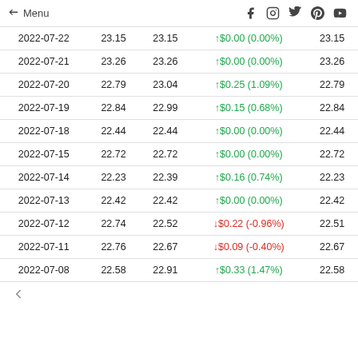← Menu   f  Instagram  Twitter  Pinterest  YouTube
| Date | Col2 | Col3 | Change | Col5 |
| --- | --- | --- | --- | --- |
| 2022-07-22 | 23.15 | 23.15 | ↑$0.00 (0.00%) | 23.15 |
| 2022-07-21 | 23.26 | 23.26 | ↑$0.00 (0.00%) | 23.26 |
| 2022-07-20 | 22.79 | 23.04 | ↑$0.25 (1.09%) | 22.79 |
| 2022-07-19 | 22.84 | 22.99 | ↑$0.15 (0.68%) | 22.84 |
| 2022-07-18 | 22.44 | 22.44 | ↑$0.00 (0.00%) | 22.44 |
| 2022-07-15 | 22.72 | 22.72 | ↑$0.00 (0.00%) | 22.72 |
| 2022-07-14 | 22.23 | 22.39 | ↑$0.16 (0.74%) | 22.23 |
| 2022-07-13 | 22.42 | 22.42 | ↑$0.00 (0.00%) | 22.42 |
| 2022-07-12 | 22.74 | 22.52 | ↓$0.22 (-0.96%) | 22.51 |
| 2022-07-11 | 22.76 | 22.67 | ↓$0.09 (-0.40%) | 22.67 |
| 2022-07-08 | 22.58 | 22.91 | ↑$0.33 (1.47%) | 22.58 |